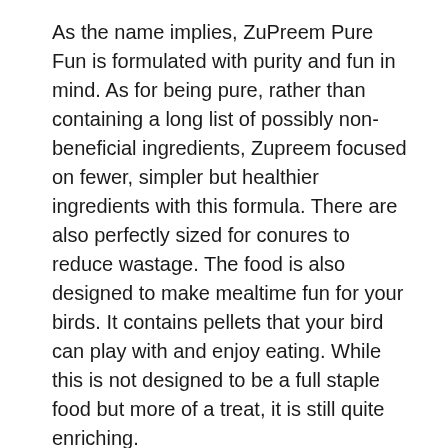As the name implies, ZuPreem Pure Fun is formulated with purity and fun in mind. As for being pure, rather than containing a long list of possibly non-beneficial ingredients, Zupreem focused on fewer, simpler but healthier ingredients with this formula. There are also perfectly sized for conures to reduce wastage. The food is also designed to make mealtime fun for your birds. It contains pellets that your bird can play with and enjoy eating. While this is not designed to be a full staple food but more of a treat, it is still quite enriching.
Pros
Simpler but healthier ingredients
Keeps birds engaged